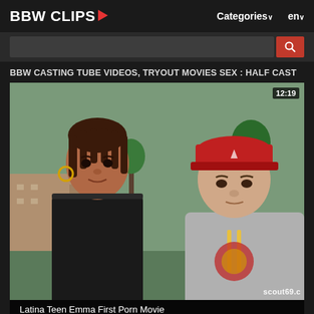BBW CLIPS▶  Categories∨  en∨
BBW CASTING TUBE VIDEOS, TRYOUT MOVIES SEX : HALF CAST
[Figure (photo): Video thumbnail showing two people outdoors in a park-like setting. A young woman with braided hair wearing a black jacket on the left, and a man wearing a red cap and grey hoodie on the right. Duration badge 12:19 in top right corner. Watermark 'scout69.c' in bottom right.]
Latina Teen Emma First Porn Movie